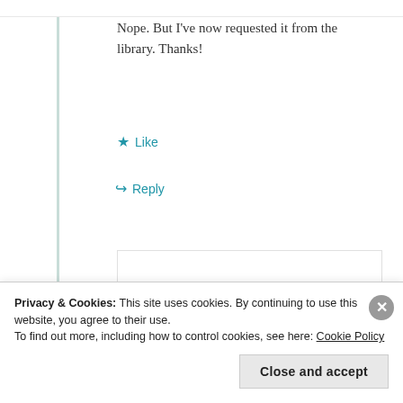Nope. But I've now requested it from the library. Thanks!
★ Like
↪ Reply
Liz
April 7, 2012 at
Privacy & Cookies: This site uses cookies. By continuing to use this website, you agree to their use. To find out more, including how to control cookies, see here: Cookie Policy
Close and accept